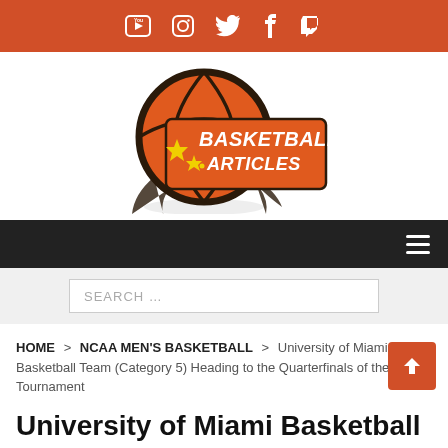Social media bar with YouTube, Instagram, Twitter, Facebook, Twitch icons
[Figure (logo): Basketball Articles logo — orange basketball with dark brown outline, stars, and white bold italic text reading BASKETBALL ARTICLES]
Navigation bar with hamburger menu icon
SEARCH …
HOME > NCAA MEN'S BASKETBALL > University of Miami Basketball Team (Category 5) Heading to the Quarterfinals of the TBT Tournament
University of Miami Basketball